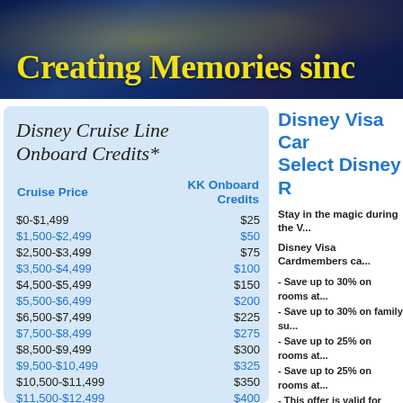[Figure (photo): Dark blue night sky banner with golden sparkles and partial clock/castle imagery. Text overlay reads 'Creating Memories sinc' (cut off).]
Creating Memories sinc
Disney Cruise Line Onboard Credits*
| Cruise Price | KK Onboard Credits |
| --- | --- |
| $0-$1,499 | $25 |
| $1,500-$2,499 | $50 |
| $2,500-$3,499 | $75 |
| $3,500-$4,499 | $100 |
| $4,500-$5,499 | $150 |
| $5,500-$6,499 | $200 |
| $6,500-$7,499 | $225 |
| $7,500-$8,499 | $275 |
| $8,500-$9,499 | $300 |
| $9,500-$10,499 | $325 |
| $10,500-$11,499 | $350 |
| $11,500-$12,499 | $400 |
| $12,500-$13,499 | $450 |
| $13,500-$14,499 | $500 |
| $14,500-$15,499 | $550 |
Disney Visa Car... Select Disney R...
Stay in the magic during the V...
Disney Visa Cardmembers ca...
- Save up to 30% on rooms at...
- Save up to 30% on family su...
- Save up to 25% on rooms at...
- Save up to 25% on rooms at...
- This offer is valid for stays n... Visa® Card.
- Here's the breakdown of the...
Save 30%
For stays most nights August...
Disney's Animal Kingdom Lo... Disney's Art of Animation Re...